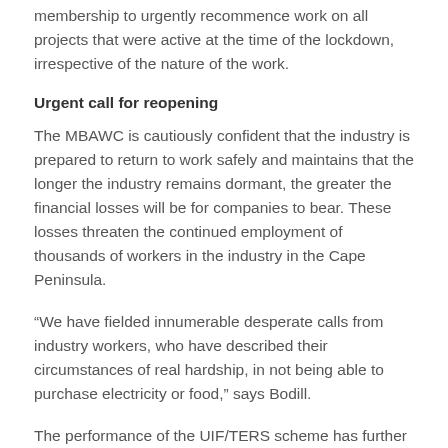membership to urgently recommence work on all projects that were active at the time of the lockdown, irrespective of the nature of the work.
Urgent call for reopening
The MBAWC is cautiously confident that the industry is prepared to return to work safely and maintains that the longer the industry remains dormant, the greater the financial losses will be for companies to bear. These losses threaten the continued employment of thousands of workers in the industry in the Cape Peninsula.
“We have fielded innumerable desperate calls from industry workers, who have described their circumstances of real hardship, in not being able to purchase electricity or food,” says Bodill.
The performance of the UIF/TERS scheme has further exacerbated the plight of the construction staff. MBAWC recently conducted a poll amongst its members who have submitted claims to the UIF/TERS fund to cover the period of the lockdown up to the end of April. As at 20th May only 12.7% of them had been paid, 13% partially paid and 24.3% had not been paid...